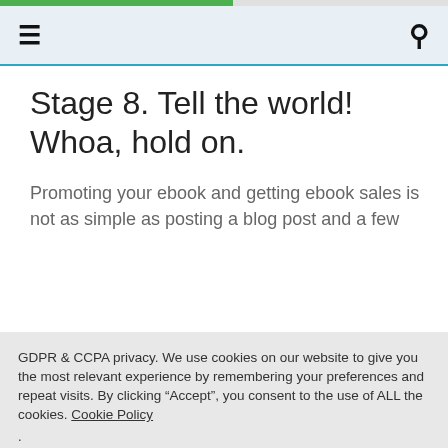≡  🔍
Stage 8. Tell the world! Whoa, hold on.
Promoting your ebook and getting ebook sales is not as simple as posting a blog post and a few
GDPR & CCPA privacy. We use cookies on our website to give you the most relevant experience by remembering your preferences and repeat visits. By clicking "Accept", you consent to the use of ALL the cookies. Cookie Policy
.
Cookie settings  ACCEPT